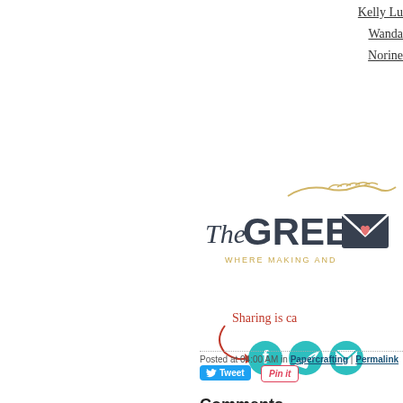Kelly Lu
Wanda
Norine
[Figure (logo): The Greet logo — stylized cursive 'The' with bold 'GREE' text and an envelope icon with heart, subtitle 'WHERE MAKING AND']
[Figure (infographic): Sharing is caring graphic with red cursive text and arrow, plus teal circular social media icons for Facebook, Twitter, and Email]
Posted at 04:00 AM in Papercrafting | Permalink
Tweet
Pin it
Comments
You can follow this conversation by su